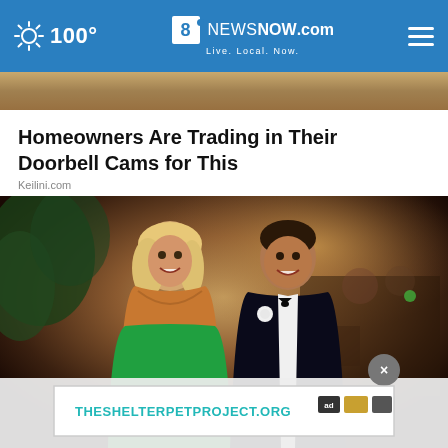100° | 8NewsNow.com Live. Local. Now.
[Figure (photo): Partial view of a photo strip at the top of the article]
Homeowners Are Trading in Their Doorbell Cams for This
Keilini.com
[Figure (photo): A smiling blonde woman in a green strapless gown and a man in a black tuxedo with white boutonniere, posing together at a formal event in a warmly lit ballroom. An ad overlay at the bottom shows THESHELTERPETPROJECT.ORG with a close button.]